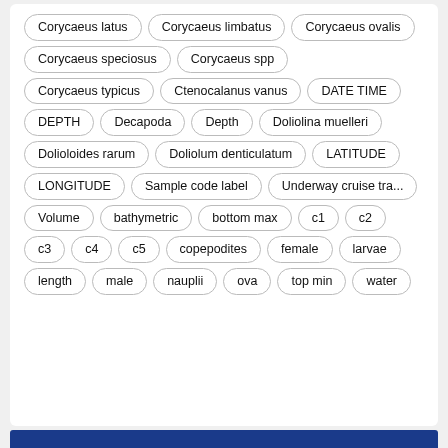Corycaeus latus, Corycaeus limbatus, Corycaeus ovalis, Corycaeus speciosus, Corycaeus spp, Corycaeus typicus, Ctenocalanus vanus, DATE TIME, DEPTH, Decapoda, Depth, Doliolina muelleri, Dolioloides rarum, Doliolum denticulatum, LATITUDE, LONGITUDE, Sample code label, Underway cruise tra..., Volume, bathymetric, bottom max, c1, c2, c3, c4, c5, copepodites, female, larvae, length, male, nauplii, ova, top min, water